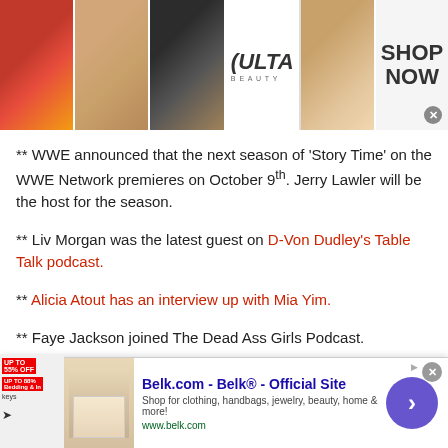[Figure (photo): Top banner advertisement showing makeup/beauty images and Ulta Beauty logo with SHOP NOW text]
** WWE announced that the next season of ‘Story Time’ on the WWE Network premieres on October 9th. Jerry Lawler will be the host for the season.
** Liv Morgan was the latest guest on D-Von Dudley’s Table Talk podcast.
** Alicia Atout has an interview up with Mia Yim.
** Faye Jackson joined The Dead Ass Girls Podcast.
[embedyt] https://www.youtube.com/watch?
[Figure (screenshot): Bottom advertisement for Belk.com - Belk® Official Site with thumbnail image and navigation arrow button]